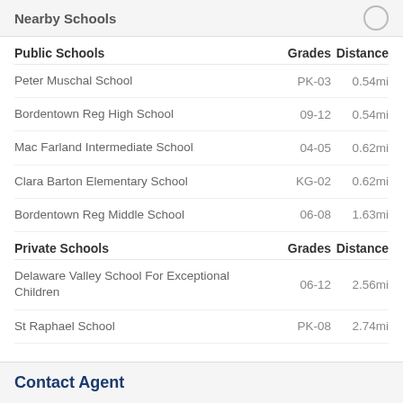Nearby Schools
| Public Schools | Grades | Distance |
| --- | --- | --- |
| Peter Muschal School | PK-03 | 0.54mi |
| Bordentown Reg High School | 09-12 | 0.54mi |
| Mac Farland Intermediate School | 04-05 | 0.62mi |
| Clara Barton Elementary School | KG-02 | 0.62mi |
| Bordentown Reg Middle School | 06-08 | 1.63mi |
| Private Schools | Grades | Distance |
| --- | --- | --- |
| Delaware Valley School For Exceptional Children | 06-12 | 2.56mi |
| St Raphael School | PK-08 | 2.74mi |
Contact Agent